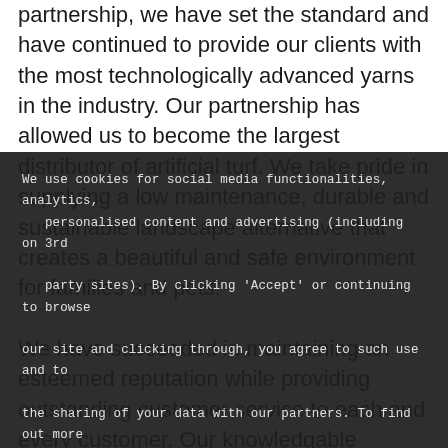partnership, we have set the standard and have continued to provide our clients with the most technologically advanced yarns in the industry. Our partnership has allowed us to become the largest distributor of artificial turf. We take pride in supplying a low maintenance, durable and sustainable landscape alternative that creates a beautiful and safe environment for families and pets.
We use cookies for social media functionalities, analytics, personalised content and advertising (including on 3rd party sites). By clicking 'Accept' or continuing to browse our site and clicking through, you agree to such use and to the sharing of your data with our partners. To find out more about our use of cookies, our partners or how to withdraw your consent see our Privacy Policy.
We have succeeded in maintaining an esteemed reputation while providing outstanding customer service to each and every customer. Our knowledgable employees are here to answer each and every question you have. We provide turf options for residential,